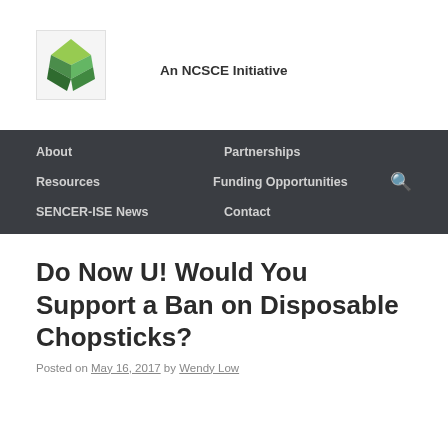[Figure (logo): SENCER-ISE green diamond/rhombus logo on light background]
An NCSCE Initiative
About   Partnerships   Resources   Funding Opportunities   SENCER-ISE News   Contact
Do Now U! Would You Support a Ban on Disposable Chopsticks?
Posted on May 16, 2017 by Wendy Low